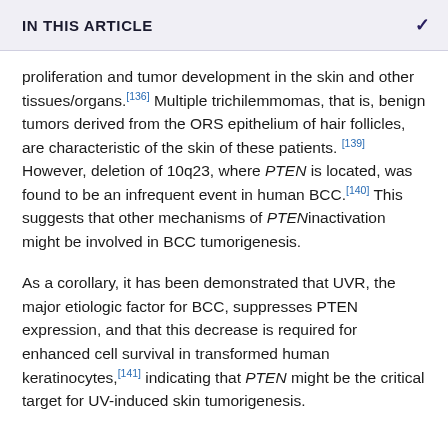IN THIS ARTICLE
proliferation and tumor development in the skin and other tissues/organs.[136] Multiple trichilemmomas, that is, benign tumors derived from the ORS epithelium of hair follicles, are characteristic of the skin of these patients. [139] However, deletion of 10q23, where PTEN is located, was found to be an infrequent event in human BCC.[140] This suggests that other mechanisms of PTENinactivation might be involved in BCC tumorigenesis.
As a corollary, it has been demonstrated that UVR, the major etiologic factor for BCC, suppresses PTEN expression, and that this decrease is required for enhanced cell survival in transformed human keratinocytes,[141] indicating that PTEN might be the critical target for UV-induced skin tumorigenesis.